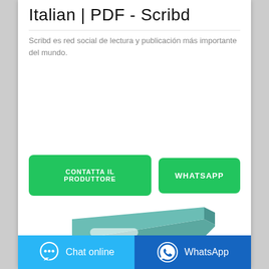Italian | PDF - Scribd
Scribd es red social de lectura y publicación más importante del mundo.
[Figure (other): Two green call-to-action buttons: 'CONTATTA IL PRODUTTORE' and 'WHATSAPP']
[Figure (illustration): Partial image of a teal/green utility blade or scraper tool]
[Figure (other): Bottom navigation bar with two buttons: 'Chat online' (light blue) and 'WhatsApp' (dark blue)]